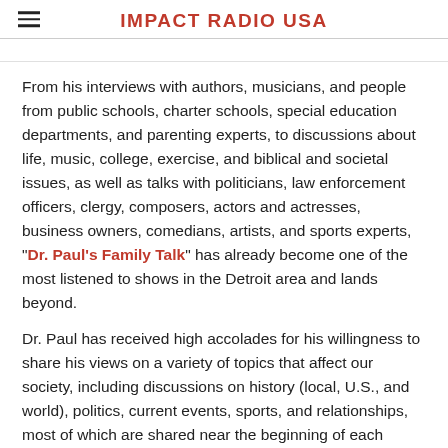IMPACT RADIO USA
From his interviews with authors, musicians, and people from public schools, charter schools, special education departments, and parenting experts, to discussions about life, music, college, exercise, and biblical and societal issues, as well as talks with politicians, law enforcement officers, clergy, composers, actors and actresses, business owners, comedians, artists, and sports experts, "Dr. Paul's Family Talk" has already become one of the most listened to shows in the Detroit area and lands beyond.
Dr. Paul has received high accolades for his willingness to share his views on a variety of topics that affect our society, including discussions on history (local, U.S., and world), politics, current events, sports, and relationships, most of which are shared near the beginning of each show, as well as throughout the broadcast.